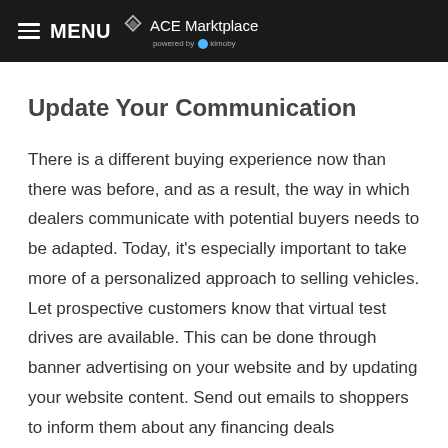MENU ACE Marktplace powered by kimoby
Update Your Communication
There is a different buying experience now than there was before, and as a result, the way in which dealers communicate with potential buyers needs to be adapted. Today, it's especially important to take more of a personalized approach to selling vehicles. Let prospective customers know that virtual test drives are available. This can be done through banner advertising on your website and by updating your website content. Send out emails to shoppers to inform them about any financing deals